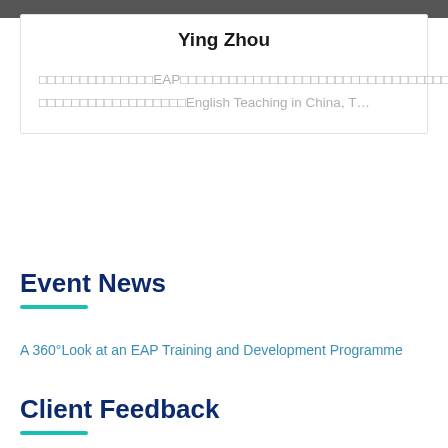[Figure (photo): Top portion of a profile photo of a person, partially visible as a strip at the top of the card]
Ying Zhou
□□□□□□□□□□□□□□EAP□□□□□□□□□□□□□□□□□□□□□□□□□□□□□□□□□□□□□□□□□□□□□□□□□□□□□□□English Teaching in China, T…
Event News
A 360°Look at an EAP Training and Development Programme
Client Feedback